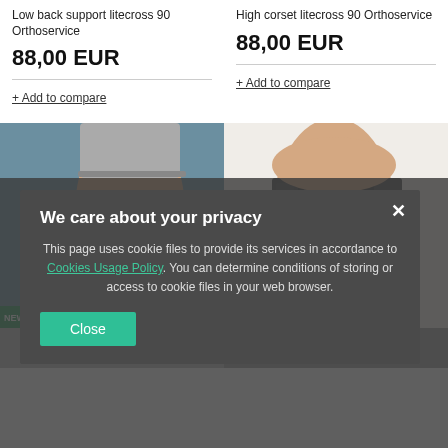Low back support litecross 90 Orthoservice
88,00 EUR
+ Add to compare
High corset litecross 90 Orthoservice
88,00 EUR
+ Add to compare
[Figure (photo): Person wearing a light blue low back support brace, with a NEW IN badge]
[Figure (photo): Person wearing a dark grey back brace, with ON SPECIAL OFFER and NEW IN badges]
We care about your privacy
This page uses cookie files to provide its services in accordance to Cookies Usage Policy. You can determine conditions of storing or access to cookie files in your web browser.
Close